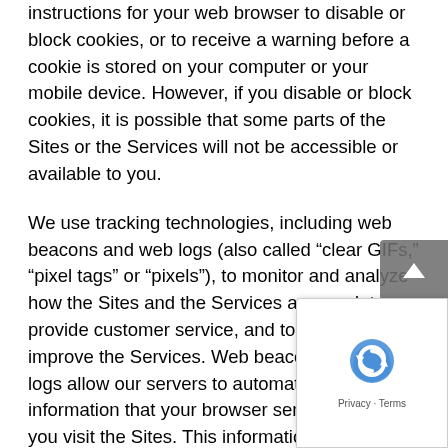instructions for your web browser to disable or block cookies, or to receive a warning before a cookie is stored on your computer or your mobile device. However, if you disable or block cookies, it is possible that some parts of the Sites or the Services will not be accessible or available to you.
We use tracking technologies, including web beacons and web logs (also called “clear GIFs,” “pixel tags” or “pixels”), to monitor and analyze how the Sites and the Services are used, to provide customer service, and to maintain and improve the Services. Web beacons and web logs allow our servers to automatically record information that your browser sends whenever you visit the Sites. This information includes the time and date of your visit, your Internet Protocol address, your geographic location (your zip code, your area code and/or your time zone), your browser type and version, the Sites and the Services you use, and when and how long you use them. We use this information to monitor and analyze how the Sites and Services are used to improve your experience and to